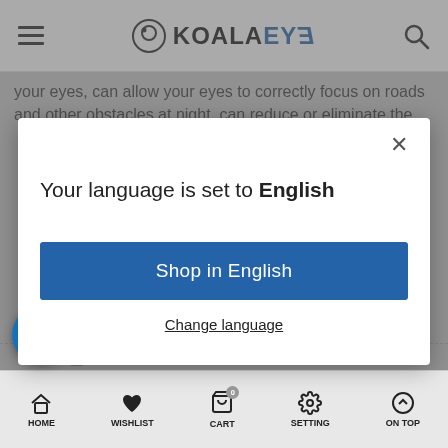KOALAEYE
your eyes, can allow your eyes to correctly focus on roads and other obstacles at night, can reduce or eliminate the
Your language is set to English
Shop in English
Change language
LIO, 2021  0 COMENTARIOS  POR KOALAEYE OPTICAL
HOME  WISHLIST  CART  SETTING  ON TOP